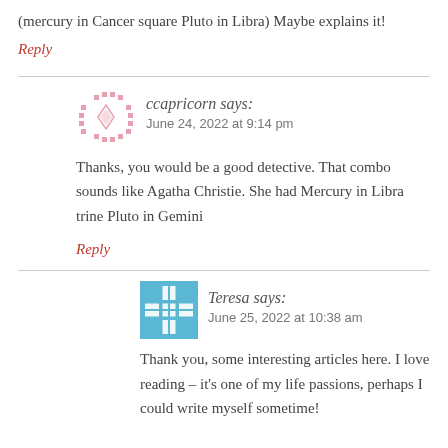(mercury in Cancer square Pluto in Libra) Maybe explains it!
Reply
ccapricorn says:
June 24, 2022 at 9:14 pm
Thanks, you would be a good detective. That combo sounds like Agatha Christie. She had Mercury in Libra trine Pluto in Gemini
Reply
Teresa says:
June 25, 2022 at 10:38 am
Thank you, some interesting articles here. I love reading – it's one of my life passions, perhaps I could write myself sometime!